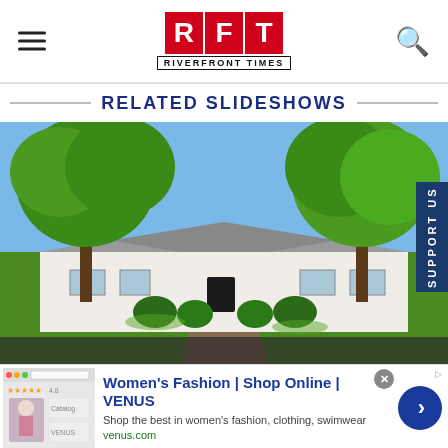RFT RIVERFRONT TIMES
RELATED SLIDESHOWS
[Figure (photo): Exterior photo of a large white ranch-style house with mature trees and a brick driveway, lush green lawn, surrounded by shrubs]
Women's Fashion | Shop Online | VENUS
Shop the best in women's fashion, clothing, swimwear
venus.com